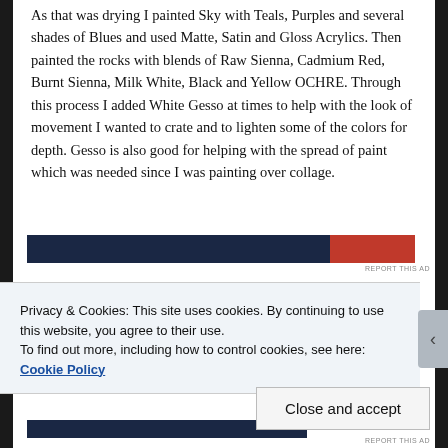As that was drying I painted Sky with Teals, Purples and several shades of Blues and used Matte, Satin and Gloss Acrylics. Then painted the rocks with blends of Raw Sienna, Cadmium Red, Burnt Sienna, Milk White, Black and Yellow OCHRE. Through this process I added White Gesso at times to help with the look of movement I wanted to crate and to lighten some of the colors for depth. Gesso is also good for helping with the spread of paint which was needed since I was painting over collage.
[Figure (other): Advertisement banner - dark navy blue rectangle with red section on right]
REPORT THIS AD
Privacy & Cookies: This site uses cookies. By continuing to use this website, you agree to their use.
To find out more, including how to control cookies, see here: Cookie Policy
Close and accept